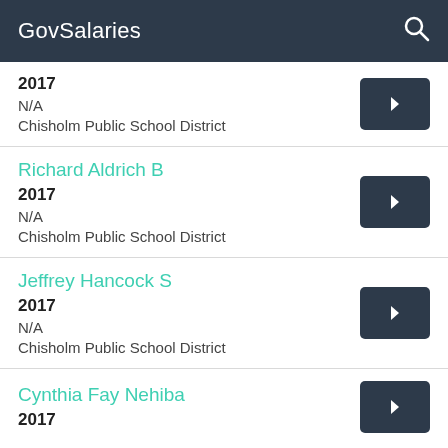GovSalaries
2017
N/A
Chisholm Public School District
Richard Aldrich B
2017
N/A
Chisholm Public School District
Jeffrey Hancock S
2017
N/A
Chisholm Public School District
Cynthia Fay Nehiba
2017